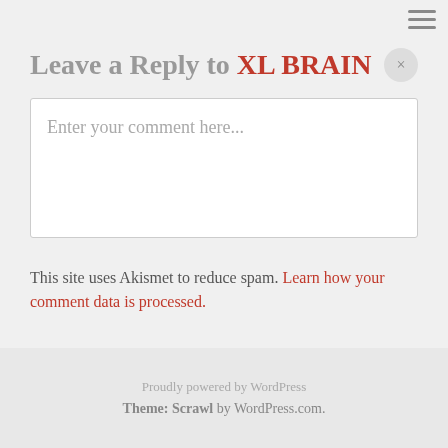Leave a Reply to XL BRAIN
Enter your comment here...
This site uses Akismet to reduce spam. Learn how your comment data is processed.
Proudly powered by WordPress
Theme: Scrawl by WordPress.com.